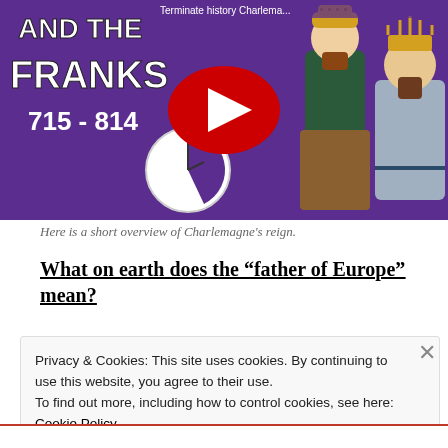[Figure (screenshot): YouTube video thumbnail showing 'AND THE FRANKS 715 - 814' with cartoon characters and a YouTube play button overlay, purple background]
Here is a short overview of Charlemagne's reign.
What on earth does the “father of Europe” mean?
Privacy & Cookies: This site uses cookies. By continuing to use this website, you agree to their use.
To find out more, including how to control cookies, see here:
Cookie Policy
Close and accept